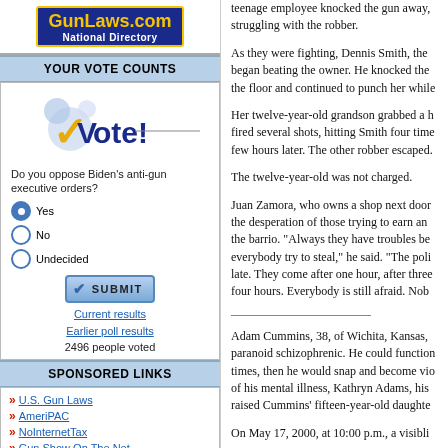[Figure (logo): GunLaws.com National Directory logo with gold text on dark blue background]
YOUR VOTE COUNTS
[Figure (infographic): Vote! graphic with gold checkmark and colorful bubbles]
Do you oppose Biden's anti-gun executive orders?
Yes (selected)
No
Undecided
SUBMIT button
Current results
Earlier poll results
2496 people voted
SPONSORED LINKS
U.S. Gun Laws
AmeriPAC
NoInternetTax
Gun Show On The Net
2nd Amendment Show
SEMPER FIrearms
Colt Collectors Assoc.
Personal Defense Solutions
teenage employee knocked the gun away, struggling with the robber.

As they were fighting, Dennis Smith, the began beating the owner. He knocked the the floor and continued to punch her while

Her twelve-year-old grandson grabbed a h fired several shots, hitting Smith four time few hours later. The other robber escaped.

The twelve-year-old was not charged.

Juan Zamora, who owns a shop next door the desperation of those trying to earn an the barrio. "Always they have troubles be everybody try to steal," he said. "The poli late. They come after one hour, after three four hours. Everybody is still afraid. Nob
Adam Cummins, 38, of Wichita, Kansas, paranoid schizophrenic. He could function times, then he would snap and become vio of his mental illness, Kathryn Adams, his raised Cummins' fifteen-year-old daughte

On May 17, 2000, at 10:00 p.m., a visibli